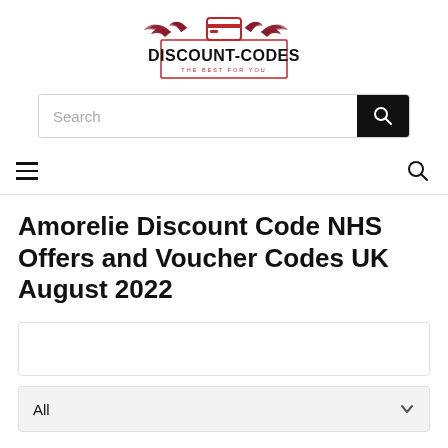[Figure (logo): Discount-Codes logo with red credit card and wings graphic above a bordered rectangle containing 'DISCOUNT-CODES' in bold and 'THE BEST FOR YOU' subtitle]
[Figure (screenshot): Search bar with placeholder text 'Search' and a black search button icon on the right]
[Figure (screenshot): Navigation bar with hamburger menu icon on left and search icon on right, with bottom border]
Amorelie Discount Code NHS Offers and Voucher Codes UK August 2022
[Figure (other): Empty white box with light border]
[Figure (other): Dropdown selector showing 'All' with chevron/down arrow on right, light grey background]